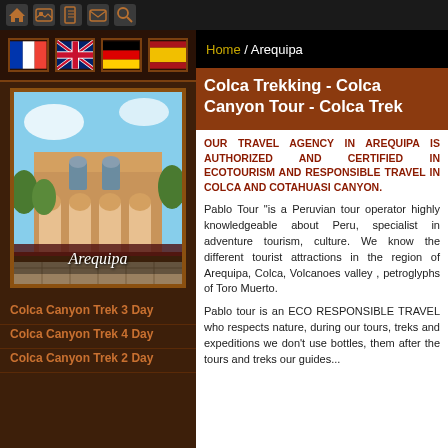Navigation icons: home, gallery, document, email, search
[Figure (illustration): Row of four country flag icons: France, UK, Germany, Spain]
[Figure (photo): Photo of Arequipa colonial building with arches and garden, labeled 'Arequipa']
Colca Canyon Trek 3 Day
Colca Canyon Trek 4 Day
Colca Canyon Trek 2 Day
Home / Arequipa
Colca Trekking - Colca Canyon Tour - Colca Trek
OUR TRAVEL AGENCY IN AREQUIPA IS AUTHORIZED AND CERTIFIED IN ECOTOURISM AND RESPONSIBLE TRAVEL IN COLCA AND COTAHUASI CANYON.
Pablo Tour "is a Peruvian tour operator highly knowledgeable about Peru, specialist in adventure tourism, culture. We know the different tourist attractions in the region of Arequipa, Colca, Volcanoes valley , petroglyphs of Toro Muerto.
Pablo tour is an ECO RESPONSIBLE TRAVEL who respects nature, during our tours, treks and expeditions we don't use bottles, them after the tours and treks our guides...